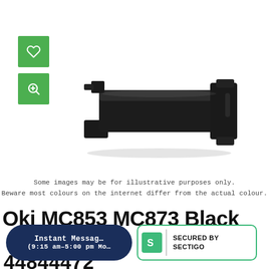[Figure (photo): Green heart/wishlist button and green zoom button on left side]
[Figure (photo): Black OKI printer drum/imaging unit cartridge product photo on white background]
Some images may be for illustrative purposes only.
Beware most colours on the internet differ from the actual colour.
Oki MC853 MC873 Black
Instant Message (9:15 am-5:00 pm Mo
[Figure (logo): Secured by Sectigo badge with green S logo]
44844472